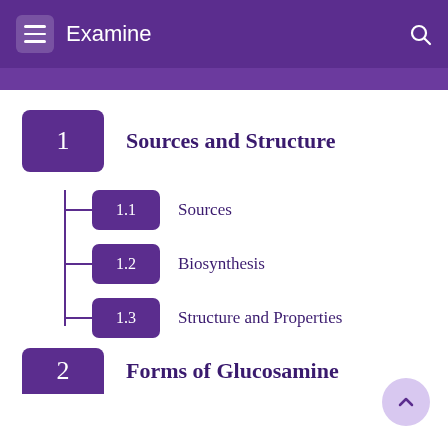Examine
1  Sources and Structure
1.1  Sources
1.2  Biosynthesis
1.3  Structure and Properties
2  Forms of Glucosamine